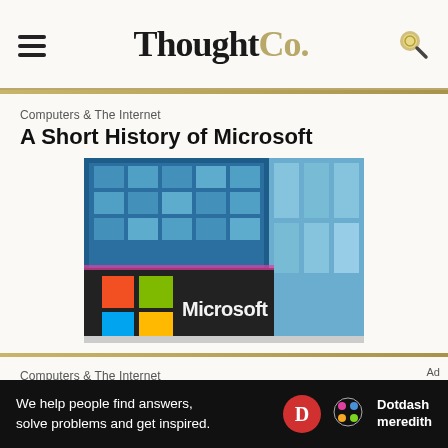ThoughtCo.
Computers & The Internet
A Short History of Microsoft
[Figure (photo): Microsoft building exterior with colorful Microsoft logo (four squares: orange, green, blue, yellow) and Microsoft wordmark signage on a modern glass office building]
Computers & The Internet
Timeline of Microsoft Corporation
Ad
We help people find answers, solve problems and get inspired. Dotdash meredith